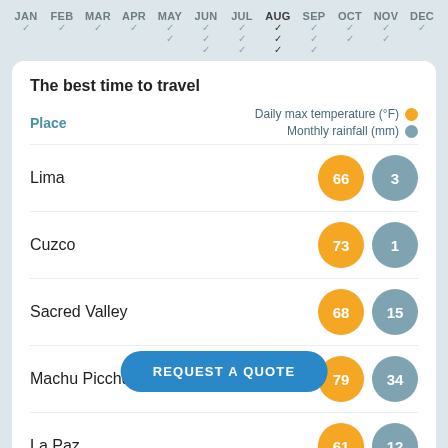JAN FEB MAR APR MAY JUN JUL AUG SEP OCT NOV DEC
The best time to travel
| Place | Daily max temperature (°F) | Monthly rainfall (mm) |
| --- | --- | --- |
| Lima | 66 | 3 |
| Cuzco | 73 | 1 |
| Sacred Valley | 68 | 15 |
| Machu Picchu | 79 | 34 |
| La Paz | 61 | 12 |